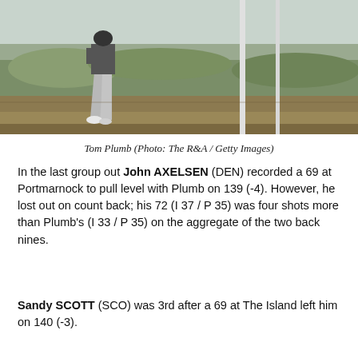[Figure (photo): Golfer (Tom Plumb) walking on a links golf course, wearing grey trousers and dark top, with white flag poles visible in the background and rough grass/dunes on either side.]
Tom Plumb (Photo: The R&A / Getty Images)
In the last group out John AXELSEN (DEN) recorded a 69 at Portmarnock to pull level with Plumb on 139 (-4). However, he lost out on count back; his 72 (I 37 / P 35) was four shots more than Plumb's (I 33 / P 35) on the aggregate of the two back nines.
Sandy SCOTT (SCO) was 3rd after a 69 at The Island left him on 140 (-3).